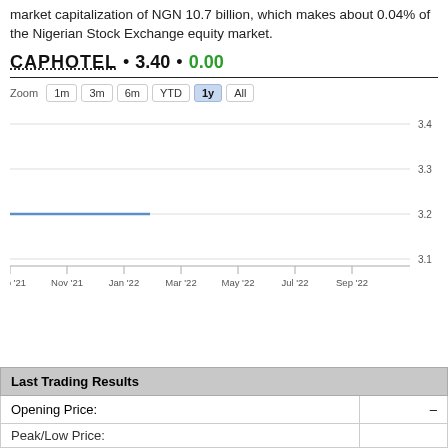market capitalization of NGN 10.7 billion, which makes about 0.04% of the Nigerian Stock Exchange equity market.
CAPHOTEL • 3.40 • 0.00
[Figure (line-chart): Line chart showing CAPHOTEL stock price from Sep 2021 to Sep 2022. The price stays flat around 3.20 for the early portion (Sep 21 to roughly Jan 22), then the line ends. Y-axis shows values 3.1, 3.2, 3.3, 3.4. X-axis shows Sep '21, Nov '21, Jan '22, Mar '22, May '22, Jul '22, Sep '22.]
| Last Trading Results |  |
| --- | --- |
| Opening Price: | – |
| Peak/Low Price: |  |